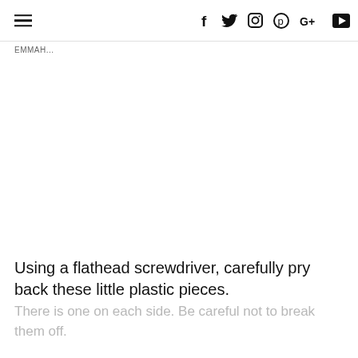≡  f  𝕥  📷  𝗽  G+  ▶
EMMAH...
Using a flathead screwdriver, carefully pry back these little plastic pieces. There is one on each side. Be careful not to break them off.